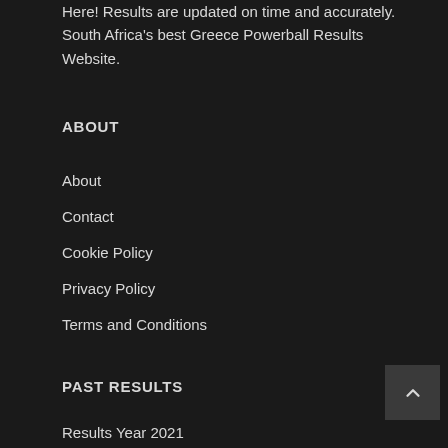Here! Results are updated on time and accurately. South Africa's best Greece Powerball Results Website.
ABOUT
About
Contact
Cookie Policy
Privacy Policy
Terms and Conditions
PAST RESULTS
Results Year 2021